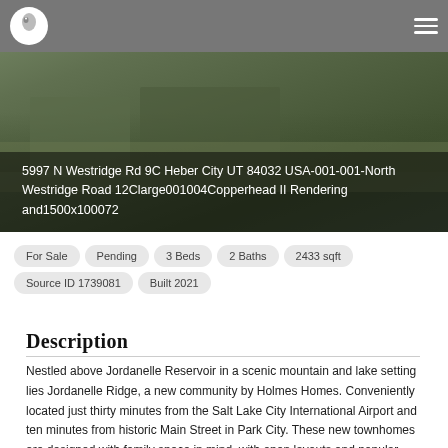5997 N Westridge Rd 9C Heber City UT 84032 USA-001-001-North Westridge Road 12Clarge001004Copperhead II Rendering and1500x100072
[Figure (photo): Exterior rendering of a townhome community with green lawn and trees, partially obscured by dark overlay with property address text]
For Sale | Pending | 3 Beds | 2 Baths | 2433 sqft | Source ID 1739081 | Built 2021
Description
Nestled above Jordanelle Reservoir in a scenic mountain and lake setting lies Jordanelle Ridge, a new community by Holmes Homes. Conveniently located just thirty minutes from the Salt Lake City International Airport and ten minutes from historic Main Street in Park City. These new townhomes are designed with family space in mind, with open layouts and popular mountain-contemporary finishes and architecture. A quaint and quiet neighborhood with all